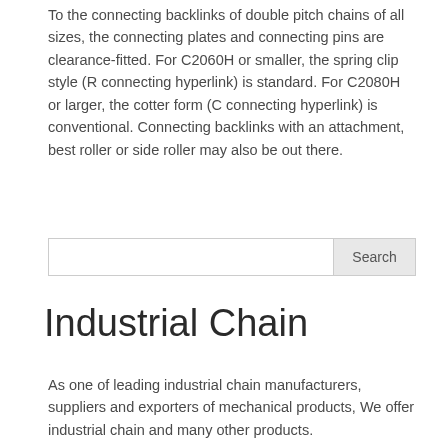To the connecting backlinks of double pitch chains of all sizes, the connecting plates and connecting pins are clearance-fitted. For C2060H or smaller, the spring clip style (R connecting hyperlink) is standard. For C2080H or larger, the cotter form (C connecting hyperlink) is conventional. Connecting backlinks with an attachment, best roller or side roller may also be out there.
[Figure (other): Search input box with Search button]
Industrial Chain
As one of leading industrial chain manufacturers, suppliers and exporters of mechanical products, We offer industrial chain and many other products.